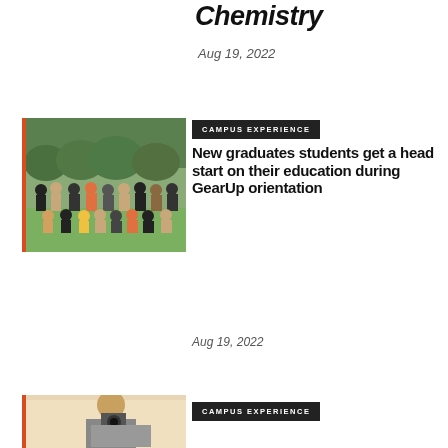Chemistry
Aug 19, 2022
[Figure (photo): Group photo of students outdoors in front of green hedge]
CAMPUS EXPERIENCE
New graduates students get a head start on their education during GearUp orientation
Aug 19, 2022
[Figure (photo): Student with camera, partially visible at bottom of page]
CAMPUS EXPERIENCE